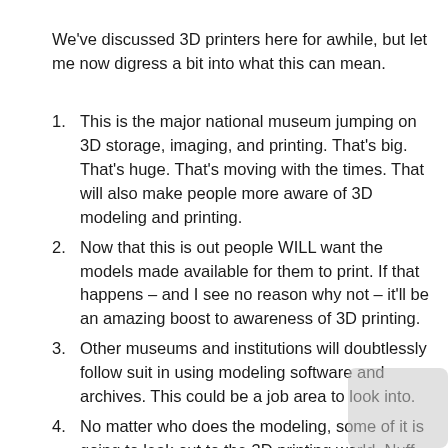We've discussed 3D printers here for awhile, but let me now digress a bit into what this can mean.
This is the major national museum jumping on 3D storage, imaging, and printing. That's big. That's huge. That's moving with the times. That will also make people more aware of 3D modeling and printing.
Now that this is out people WILL want the models made available for them to print. If that happens – and I see no reason why not – it'll be an amazing boost to awareness of 3D printing.
Other museums and institutions will doubtlessly follow suit in using modeling software and archives. This could be a job area to look into.
No matter who does the modeling, some of it is going to leak out to the 3D printing world. Nuff said.
It the Smithsonian shares models with schools, if schools print things themselves, that can promote awareness of 3D printing and technology.